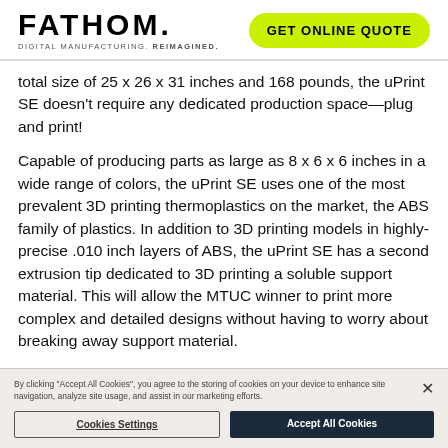FATHOM. DIGITAL MANUFACTURING. REIMAGINED. | GET ONLINE QUOTE
total size of 25 x 26 x 31 inches and 168 pounds, the uPrint SE doesn't require any dedicated production space—plug and print!
Capable of producing parts as large as 8 x 6 x 6 inches in a wide range of colors, the uPrint SE uses one of the most prevalent 3D printing thermoplastics on the market, the ABS family of plastics. In addition to 3D printing models in highly-precise .010 inch layers of ABS, the uPrint SE has a second extrusion tip dedicated to 3D printing a soluble support material. This will allow the MTUC winner to print more complex and detailed designs without having to worry about breaking away support material.
The uPrint SE can also easily pair with larger 3D printers
By clicking "Accept All Cookies", you agree to the storing of cookies on your device to enhance site navigation, analyze site usage, and assist in our marketing efforts.
Cookies Settings | Accept All Cookies